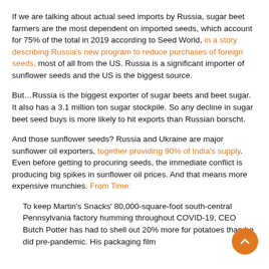If we are talking about actual seed imports by Russia, sugar beet farmers are the most dependent on imported seeds, which account for 75% of the total in 2019 according to Seed World, in a story describing Russia's new program to reduce purchases of foreign seeds, most of all from the US. Russia is a significant importer of sunflower seeds and the US is the biggest source.
But…Russia is the biggest exporter of sugar beets and beet sugar. It also has a 3.1 million ton sugar stockpile. So any decline in sugar beet seed buys is more likely to hit exports than Russian borscht.
And those sunflower seeds? Russia and Ukraine are major sunflower oil exporters, together providing 90% of India's supply. Even before getting to procuring seeds, the immediate conflict is producing big spikes in sunflower oil prices. And that means more expensive munchies. From Time:
To keep Martin's Snacks' 80,000-square-foot south-central Pennsylvania factory humming throughout COVID-19, CEO Butch Potter has had to shell out 20% more for potatoes than he did pre-pandemic. His packaging film